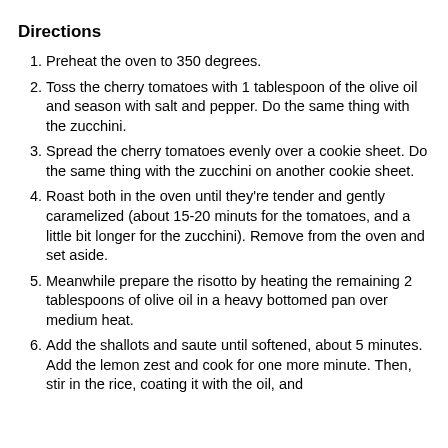Directions
Preheat the oven to 350 degrees.
Toss the cherry tomatoes with 1 tablespoon of the olive oil and season with salt and pepper. Do the same thing with the zucchini.
Spread the cherry tomatoes evenly over a cookie sheet. Do the same thing with the zucchini on another cookie sheet.
Roast both in the oven until they're tender and gently caramelized (about 15-20 minuts for the tomatoes, and a little bit longer for the zucchini). Remove from the oven and set aside.
Meanwhile prepare the risotto by heating the remaining 2 tablespoons of olive oil in a heavy bottomed pan over medium heat.
Add the shallots and saute until softened, about 5 minutes. Add the lemon zest and cook for one more minute. Then, stir in the rice, coating it with the oil, and